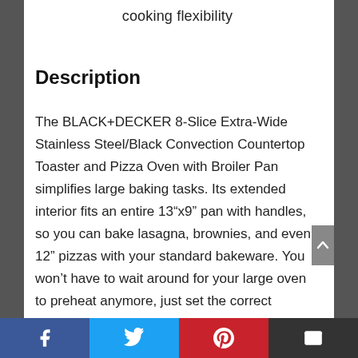cooking flexibility
Description
The BLACK+DECKER 8-Slice Extra-Wide Stainless Steel/Black Convection Countertop Toaster and Pizza Oven with Broiler Pan simplifies large baking tasks. Its extended interior fits an entire 13”x9” pan with handles, so you can bake lasagna, brownies, and even 12” pizzas with your standard bakeware. You won’t have to wait around for your large oven to preheat anymore, just set the correct temperature and time and you’ll
Facebook | Twitter | Pinterest | Email